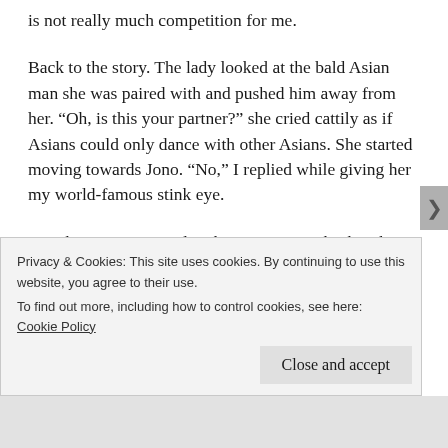is not really much competition for me.
Back to the story. The lady looked at the bald Asian man she was paired with and pushed him away from her. “Oh, is this your partner?” she cried cattily as if Asians could only dance with other Asians. She started moving towards Jono. “No,” I replied while giving her my world-famous stink eye.
I might’ve commented on her racist remarks, but the cougar suddenly caught the eye of our dance instructor. He had seen it all, and he looked at her with a disappointed and slightly superior eye as if to say, “That
Privacy & Cookies: This site uses cookies. By continuing to use this website, you agree to their use.
To find out more, including how to control cookies, see here: Cookie Policy
Close and accept